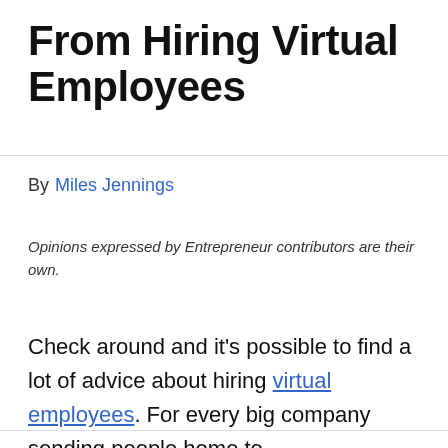From Hiring Virtual Employees
By Miles Jennings
Opinions expressed by Entrepreneur contributors are their own.
Check around and it's possible to find a lot of advice about hiring virtual employees. For every big company sending people home to